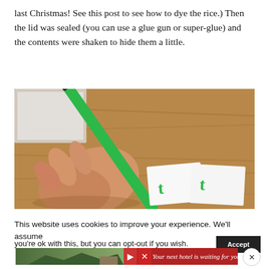last Christmas! See this post to see how to dye the rice.) Then the lid was sealed (you can use a glue gun or super-glue) and the contents were shaken to hide them a little.
[Figure (photo): A child's hand holding a green marker over white cards on a wooden table, writing green letter-like marks. A green pen/marker is visible diagonally across the frame.]
This website uses cookies to improve your experience. We'll assume you're ok with this, but you can opt-out if you wish.
[Figure (infographic): Red advertisement banner reading 'Your next hotel is waiting for you' with a landscape/hotel image and navigation arrows.]